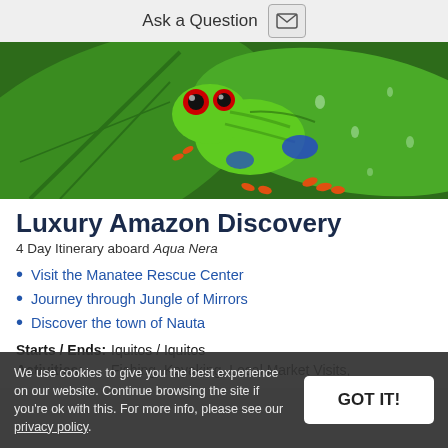Ask a Question
[Figure (photo): Close-up photo of a red-eyed tree frog sitting on a large green tropical leaf with water droplets]
Luxury Amazon Discovery
4 Day Itinerary aboard Aqua Nera
Visit the Manatee Rescue Center
Journey through Jungle of Mirrors
Discover the town of Nauta
Starts / Ends: Iquitos / Iquitos
Activities: Fishing, Kayaking, Local Market Visits,
We use cookies to give you the best experience on our website. Continue browsing the site if you're ok with this. For more info, please see our privacy policy.